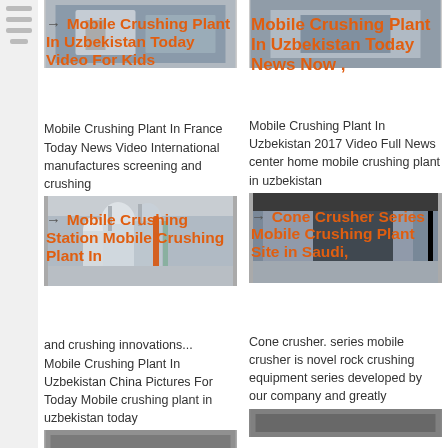[Figure (photo): Sidebar with navigation lines]
[Figure (photo): Top left thumbnail image of industrial equipment]
Mobile Crushing Plant In Uzbekistan Today Video For Kids
Mobile Crushing Plant In France Today News Video International manufactures screening and crushing
[Figure (photo): Industrial crushing plant machinery with tanks and pipes]
Mobile Crushing Station Mobile Crushing Plant In
and crushing innovations... Mobile Crushing Plant In Uzbekistan China Pictures For Today Mobile crushing plant in uzbekistan today
[Figure (photo): Top right thumbnail of construction or industrial site]
Mobile Crushing Plant In Uzbekistan Today News Now ,
Mobile Crushing Plant In Uzbekistan 2017 Video Full News center home mobile crushing plant in uzbekistan
[Figure (photo): Industrial construction site interior with concrete structures]
Cone Crusher Series Mobile Crushing Plant Site in Saudi,
Cone crusher. series mobile crusher is novel rock crushing equipment series developed by our company and greatly